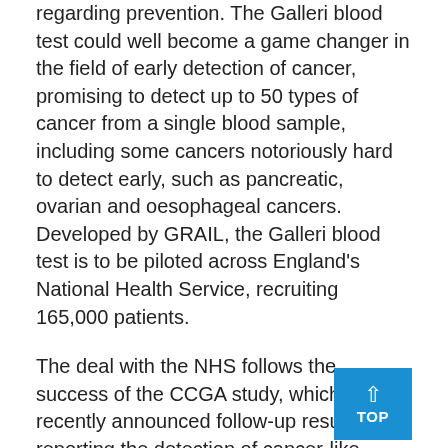regarding prevention. The Galleri blood test could well become a game changer in the field of early detection of cancer, promising to detect up to 50 types of cancer from a single blood sample, including some cancers notoriously hard to detect early, such as pancreatic, ovarian and oesophageal cancers. Developed by GRAIL, the Galleri blood test is to be piloted across England's National Health Service, recruiting 165,000 patients.
The deal with the NHS follows the success of the CCGA study, which recently announced follow-up results reporting the detection of cancer-like signals in undiagnosed patients as early as 15 months before a formal cancer diagnosis was given.
CIRCULATING-FREE DNA
The concept behind the Galleri blood test relies on the detection of circulating-free DNA (cfDNA). These are small genomic fragments that...